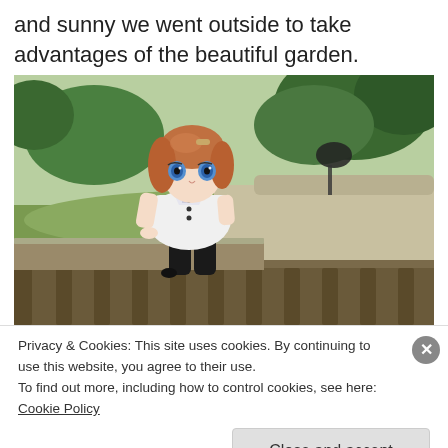and sunny we went outside to take advantages of the beautiful garden.
[Figure (photo): A ball-jointed doll with brown hair, blue eyes, wearing a white dress with black accents and black stockings, sitting on a wooden ledge in a Japanese garden with green foliage and gravel in the background.]
Privacy & Cookies: This site uses cookies. By continuing to use this website, you agree to their use.
To find out more, including how to control cookies, see here: Cookie Policy
Close and accept